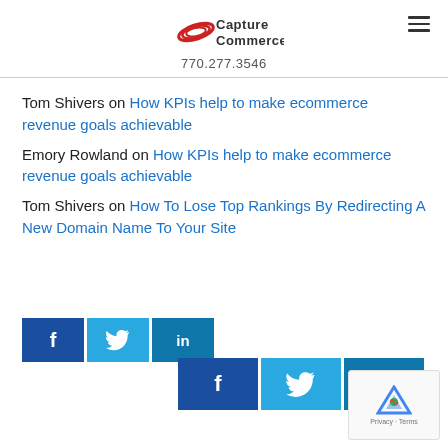Capture Commerce | 770.277.3546
Tom Shivers on How KPIs help to make ecommerce revenue goals achievable
Emory Rowland on How KPIs help to make ecommerce revenue goals achievable
Tom Shivers on How To Lose Top Rankings By Redirecting A New Domain Name To Your Site
[Figure (infographic): Social sharing buttons bar with Facebook, Twitter, and LinkedIn icons (dark blue, light blue, medium blue)]
[Figure (infographic): Second social sharing buttons bar with Facebook, Twitter, and LinkedIn icons (larger)]